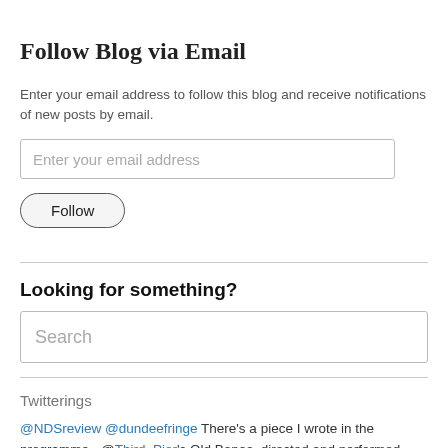Follow Blog via Email
Enter your email address to follow this blog and receive notifications of new posts by email.
Enter your email address
Follow
Looking for something?
Search
Twitterings
@NDSreview @dundeefringe There's a piece I wrote in the programme - @Third_Pier's Old Bones, directed and performed…